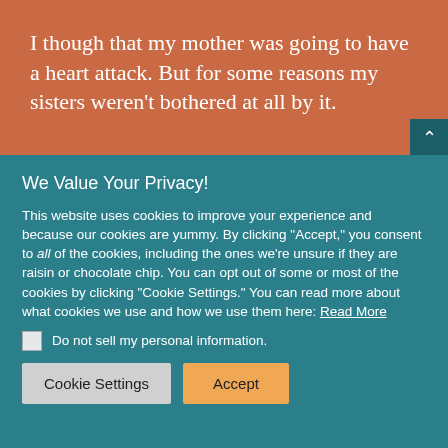I though that my mother was going to have a heart attack. But for some reasons my sisters weren't bothered at all by it.
We Value Your Privacy!
This website uses cookies to improve your experience and because our cookies are yummy. By clicking "Accept," you consent to all of the cookies, including the ones we're unsure if they are raisin or chocolate chip. You can opt out of some or most of the cookies by clicking "Cookie Settings." You can read more about what cookies we use and how we use them here: Read More
Do not sell my personal information.